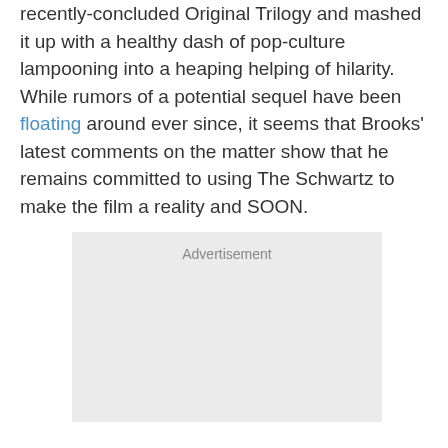recently-concluded Original Trilogy and mashed it up with a healthy dash of pop-culture lampooning into a heaping helping of hilarity. While rumors of a potential sequel have been floating around ever since, it seems that Brooks' latest comments on the matter show that he remains committed to using The Schwartz to make the film a reality and SOON.
[Figure (other): Advertisement placeholder box with light gray background and 'Advertisement' label at top center]